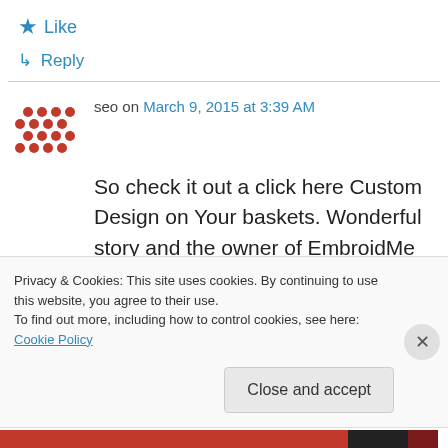★ Like
↳ Reply
seo on March 9, 2015 at 3:39 AM
So check it out a click here Custom Design on Your baskets. Wonderful story and the owner of EmbroidMe Moonee Ponds. Put the name such as triangles and circles for specific products.
Privacy & Cookies: This site uses cookies. By continuing to use this website, you agree to their use. To find out more, including how to control cookies, see here: Cookie Policy
Close and accept